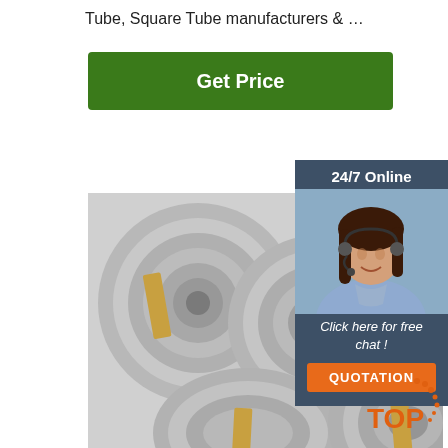Tube, Square Tube manufacturers & …
[Figure (other): Green 'Get Price' button]
[Figure (photo): Large coils of steel strip/band bundled with metal straps, stacked together]
[Figure (infographic): Side panel with '24/7 Online' label, female customer service agent with headset, 'Click here for free chat !' text, and orange QUOTATION button on dark blue background]
[Figure (logo): Orange 'TOP' logo with dotted arc in bottom-right corner]